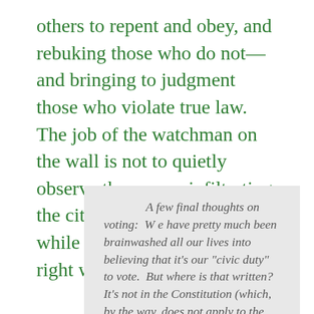others to repent and obey, and rebuking those who do not—and bringing to judgment those who violate true law.  The job of the watchman on the wall is not to quietly observe the enemy infiltrating the city, and then go to sleep while getting his own heart right with God.  RAB]
A few final thoughts on voting:  W e have pretty much been brainwashed all our lives into believing that it's our "civic duty" to vote.  But where is that written?  It's not in the Constitution (which, by the way, does not apply to the citizenry but "governs only the public